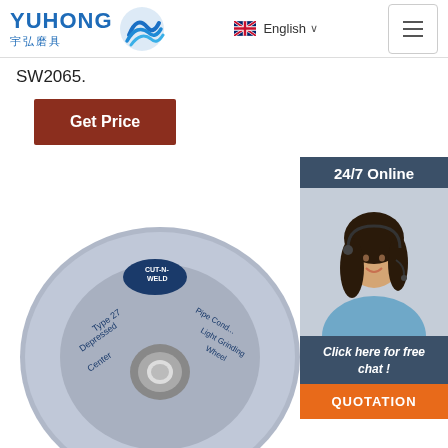YUHONG 宇弘磨具 | English
SW2065.
Get Price
[Figure (photo): Woman with headset smiling, customer service agent photo with '24/7 Online' banner, 'Click here for free chat!' text, and orange QUOTATION button]
[Figure (photo): Cut-N-Weld branded Type 27 Depressed Center grinding wheel (pipe conditioning and light grinding wheel), 4-1/2 x 1/8 inch, viewed from top at slight angle showing hub]
TOP